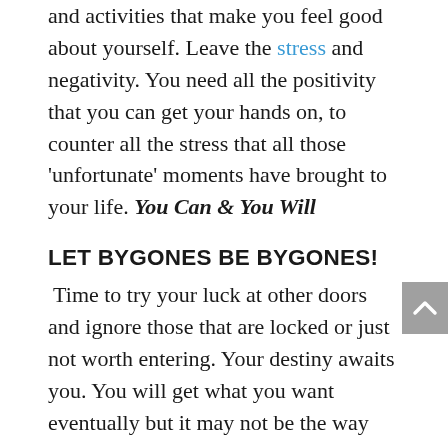and activities that make you feel good about yourself. Leave the stress and negativity. You need all the positivity that you can get your hands on, to counter all the stress that all those 'unfortunate' moments have brought to your life. You Can & You Will
LET BYGONES BE BYGONES!
Time to try your luck at other doors and ignore those that are locked or just not worth entering. Your destiny awaits you. You will get what you want eventually but it may not be the way you want it. Don't waste time as you will only regret not